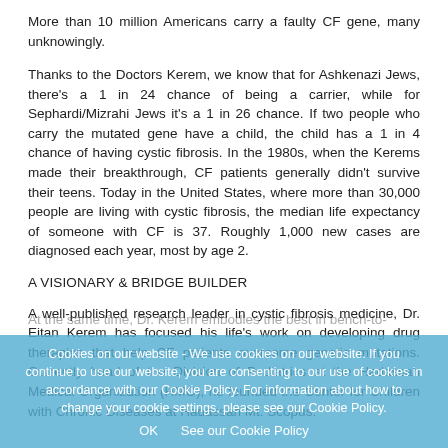More than 10 million Americans carry a faulty CF gene, many unknowingly.
Thanks to the Doctors Kerem, we know that for Ashkenazi Jews, there's a 1 in 24 chance of being a carrier, while for Sephardi/Mizrahi Jews it's a 1 in 26 chance. If two people who carry the mutated gene have a child, the child has a 1 in 4 chance of having cystic fibrosis. In the 1980s, when the Kerems made their breakthrough, CF patients generally didn't survive their teens. Today in the United States, where more than 30,000 people are living with cystic fibrosis, the median life expectancy of someone with CF is 37. Roughly 1,000 new cases are diagnosed each year, most by age 2.
A VISIONARY & BRIDGE BUILDER
A well-published research leader in cystic fibrosis medicine, Dr. Eitan Kerem has focused his life's work on developing drug therapies that help CF patients overcome genetic mutations. Currently head of the Division of Pediatrics at the Hadassah Medical Organization (HMO), he founded the Center for Children with Chronic Diseases at Hadassah Mt. Scopus.
Cookies on our website - We use cookies on our website. If you continue to use our website, you are consenting to our use of cookies in accordance with our Cookie Policy. For information about how to change your cookie settings, please see our Cookie Policy.
At the same time, Dr. Kerem embodies the best in bench-to-